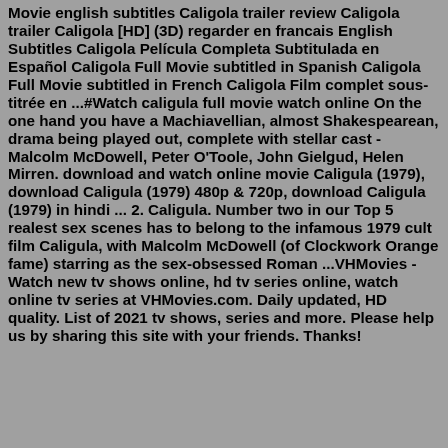Movie english subtitles Caligola trailer review Caligola trailer Caligola [HD] (3D) regarder en francais English Subtitles Caligola Película Completa Subtitulada en Español Caligola Full Movie subtitled in Spanish Caligola Full Movie subtitled in French Caligola Film complet sous-titrée en ...#Watch caligula full movie watch online On the one hand you have a Machiavellian, almost Shakespearean, drama being played out, complete with stellar cast - Malcolm McDowell, Peter O'Toole, John Gielgud, Helen Mirren. download and watch online movie Caligula (1979), download Caligula (1979) 480p & 720p, download Caligula (1979) in hindi ... 2. Caligula. Number two in our Top 5 realest sex scenes has to belong to the infamous 1979 cult film Caligula, with Malcolm McDowell (of Clockwork Orange fame) starring as the sex-obsessed Roman ...VHMovies - Watch new tv shows online, hd tv series online, watch online tv series at VHMovies.com. Daily updated, HD quality. List of 2021 tv shows, series and more. Please help us by sharing this site with your friends. Thanks!